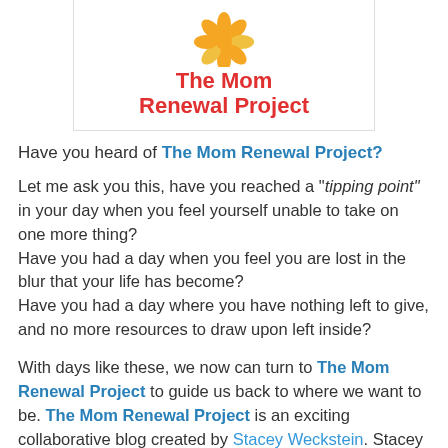[Figure (logo): The Mom Renewal Project logo with orange flower petals and red text]
Have you heard of The Mom Renewal Project?
Let me ask you this, have you reached a "tipping point" in your day when you feel yourself unable to take on one more thing?
Have you had a day when you feel you are lost in the blur that your life has become?
Have you had a day where you have nothing left to give, and no more resources to draw upon left inside?
With days like these, we now can turn to The Mom Renewal Project to guide us back to where we want to be. The Mom Renewal Project is an exciting collaborative blog created by Stacey Weckstein. Stacey has created a site dedicated to finding balance and rejuvenation in our lives so we can move closer to the kind of life we envision for ourselves. A life...